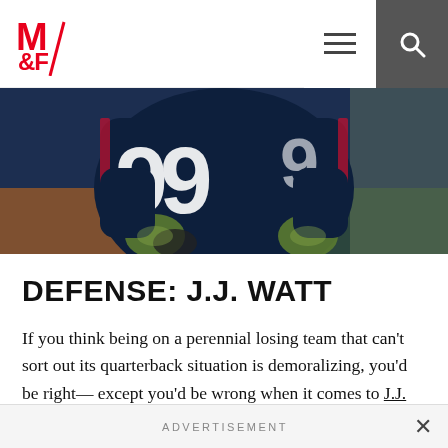M&F logo, hamburger menu, search
[Figure (photo): Football player wearing jersey number 99 (J.J. Watt, Houston Texans) in dark navy uniform with green gloves, fists clenched, action/celebration pose on field]
DEFENSE: J.J. WATT
If you think being on a perennial losing team that can't sort out its quarterback situation is demoralizing, you'd be right— except you'd be wrong when it comes to J.J. Watt, the Texans'
ADVERTISEMENT ×